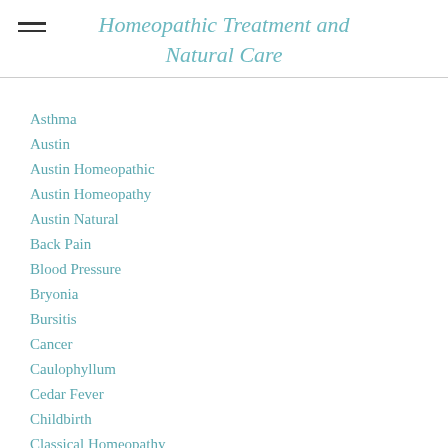Homeopathic Treatment and Natural Care
Asthma
Austin
Austin Homeopathic
Austin Homeopathy
Austin Natural
Back Pain
Blood Pressure
Bryonia
Bursitis
Cancer
Caulophyllum
Cedar Fever
Childbirth
Classical Homeopathy
Colds
Consitutional Homeopathy
Constipation Remedies